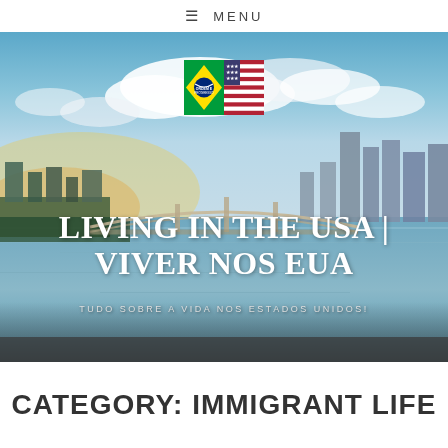≡ MENU
[Figure (photo): Aerial view of Miami waterway with bridge and city skyline at sunset, used as hero background image for a Brazilian-American lifestyle blog called 'Living in the USA | Viver nos EUA'. Two flags (Brazil and USA) are shown overlaid in the center. Text overlay reads: LIVING IN THE USA | VIVER NOS EUA / TUDO SOBRE A VIDA NOS ESTADOS UNIDOS!]
CATEGORY: IMMIGRANT LIFE